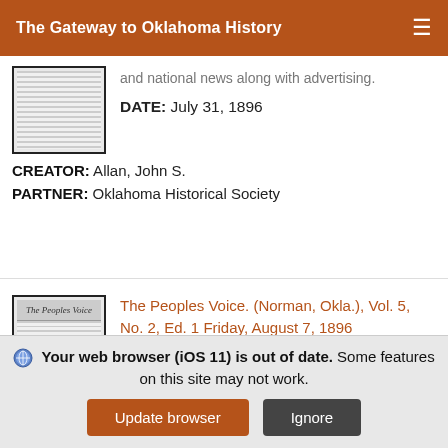The Gateway to Oklahoma History
and national news along with advertising.
DATE: July 31, 1896
CREATOR: Allan, John S.
PARTNER: Oklahoma Historical Society
The Peoples Voice. (Norman, Okla.), Vol. 5, No. 2, Ed. 1 Friday, August 7, 1896
Weekly newspaper from Norman, Oklahoma Territory
Your web browser (iOS 11) is out of date. Some features on this site may not work.